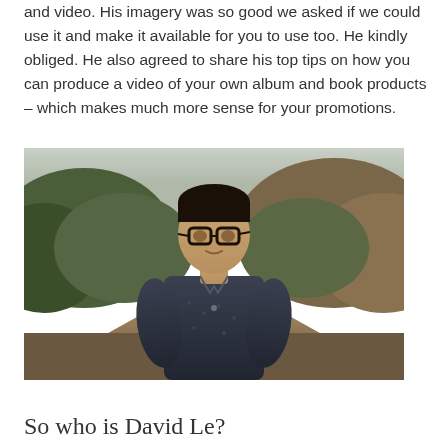and video. His imagery was so good we asked if we could use it and make it available for you to use too. He kindly obliged. He also agreed to share his top tips on how you can produce a video of your own album and book products – which makes much more sense for your promotions.
[Figure (photo): Portrait photo of a young Asian man wearing glasses and a dark patterned short-sleeve button-up shirt, standing outdoors with green bushes and an overcast sky in the background.]
So who is David Le?